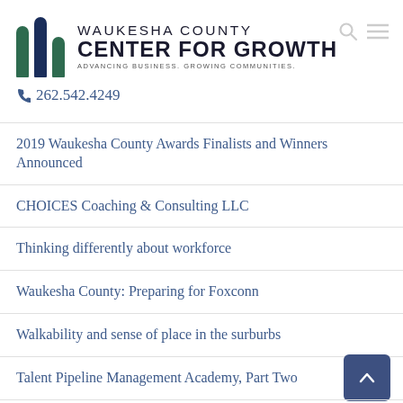[Figure (logo): Waukesha County Center for Growth logo with three vertical bars (green and navy) and text 'Waukesha County Center for Growth – Advancing Business. Growing Communities.']
262.542.4249
2019 Waukesha County Awards Finalists and Winners Announced
CHOICES Coaching & Consulting LLC
Thinking differently about workforce
Waukesha County: Preparing for Foxconn
Walkability and sense of place in the surburbs
Talent Pipeline Management Academy, Part Two
Span Tech LLC opens new Sales & Service Center in